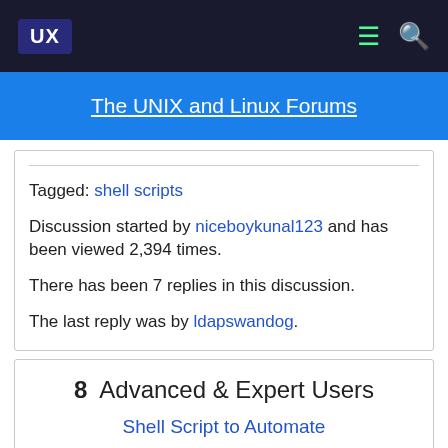UX  [menu icon]  [search icon]
The UNIX and Linux Forums
Tagged: shell scripts
Discussion started by niceboykunal123 and has been viewed 2,394 times.
There has been 7 replies in this discussion.
The last reply was by ldapswandog.
8  Advanced & Expert Users
Shell Script to Automate